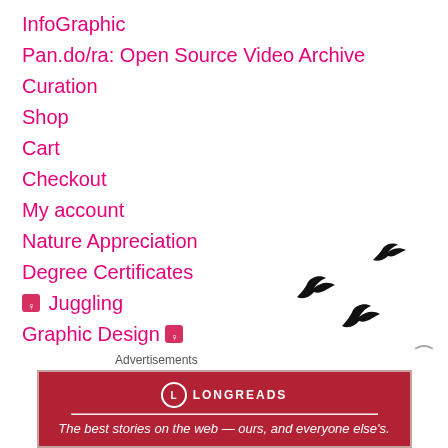InfoGraphic
Pan.do/ra: Open Source Video Archive
Curation
Shop
Cart
Checkout
My account
Nature Appreciation
Degree Certificates
[pin icon] Juggling
Graphic Design [pin icon]
Login Customizer
CV
Website Design
Works
[Figure (illustration): Three black bird silhouettes flying, scattered arrangement]
[Figure (illustration): Close (X) button circle icon in grey]
Advertisements
[Figure (infographic): Longreads advertisement banner: red background with Longreads logo and tagline 'The best stories on the web — ours, and everyone else's.']